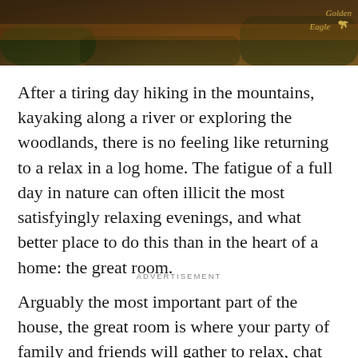[Figure (photo): Dark outdoor scene with trees and sky, showing a nature/wilderness setting. A 'Golden Eagle' logo with a bird silhouette appears in the upper right corner.]
After a tiring day hiking in the mountains, kayaking along a river or exploring the woodlands, there is no feeling like returning to a relax in a log home. The fatigue of a full day in nature can often illicit the most satisfyingly relaxing evenings, and what better place to do this than in the heart of a home: the great room.
ADVERTISEMENT
Arguably the most important part of the house, the great room is where your party of family and friends will gather to relax, chat and laugh. In recent years, log home design has realized an increasingly popular style which features a 'prow' - or a pointed front.